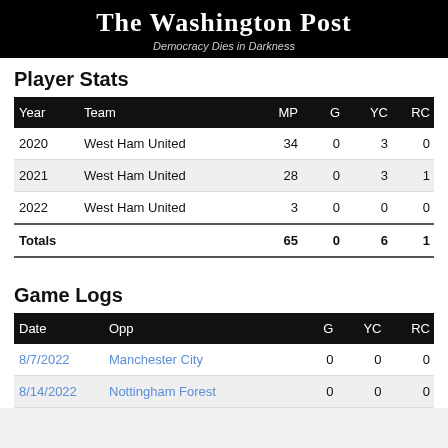The Washington Post — Democracy Dies in Darkness
Player Stats
| Year | Team | MP | G | YC | RC |
| --- | --- | --- | --- | --- | --- |
| 2020 | West Ham United | 34 | 0 | 3 | 0 |
| 2021 | West Ham United | 28 | 0 | 3 | 1 |
| 2022 | West Ham United | 3 | 0 | 0 | 0 |
| Totals |  | 65 | 0 | 6 | 1 |
Game Logs
| Date | Opp | G | YC | RC |
| --- | --- | --- | --- | --- |
| 8/7/2022 | Manchester City | 0 | 0 | 0 |
| 8/14/2022 | Nottingham Forest | 0 | 0 | 0 |